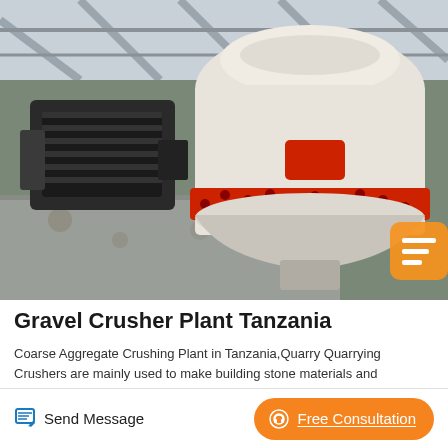[Figure (photo): Industrial gravel crusher machine inside a warehouse/factory. Shows a cone crusher with white and red/orange casing and a large electric motor on the left, mounted on a concrete platform. Viewed from below looking up.]
Gravel Crusher Plant Tanzania
Coarse Aggregate Crushing Plant in Tanzania,Quarry Quarrying Crushers are mainly used to make building stone materials and manufacturered sand. Coarse Aggregate Crushing Plant in Tanzania...
Send Message
Free Consultation